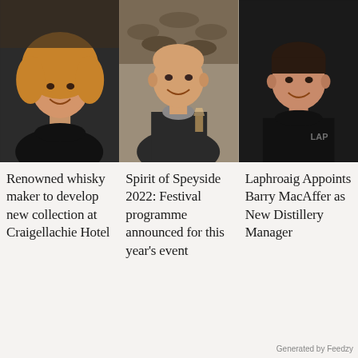[Figure (photo): Woman with curly blonde hair smiling, wearing a black turtleneck, in a dark indoor setting]
Renowned whisky maker to develop new collection at Craigellachie Hotel
[Figure (photo): Bald man smiling and holding a whisky glass, standing outdoors in front of stacked logs, wearing a dark jacket]
Spirit of Speyside 2022: Festival programme announced for this year's event
[Figure (photo): Man in black uniform with partial 'LAP' logo visible, smiling, dark background]
Laphroaig Appoints Barry MacAffer as New Distillery Manager
Generated by Feedzy